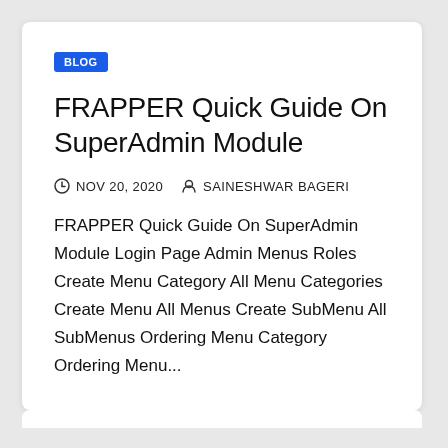BLOG
FRAPPER Quick Guide On SuperAdmin Module
NOV 20, 2020   SAINESHWAR BAGERI
FRAPPER Quick Guide On SuperAdmin Module Login Page Admin Menus Roles Create Menu Category All Menu Categories Create Menu All Menus Create SubMenu All SubMenus Ordering Menu Category Ordering Menu...